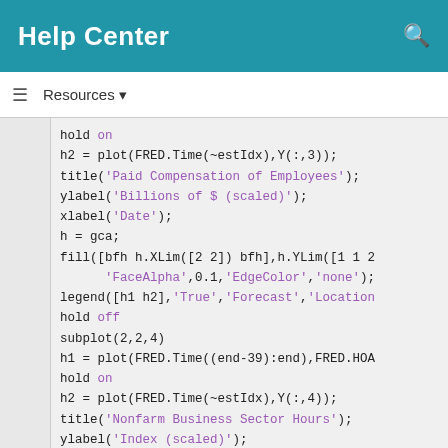Help Center
Resources ▼
hold on
h2 = plot(FRED.Time(~estIdx),Y(:,3));
title('Paid Compensation of Employees');
ylabel('Billions of $ (scaled)');
xlabel('Date');
h = gca;
fill([bfh h.XLim([2 2]) bfh],h.YLim([1 1 2
    'FaceAlpha',0.1,'EdgeColor','none');
legend([h1 h2],'True','Forecast','Location
hold off
subplot(2,2,4)
h1 = plot(FRED.Time((end-39):end),FRED.HOA
hold on
h2 = plot(FRED.Time(~estIdx),Y(:,4));
title('Nonfarm Business Sector Hours');
ylabel('Index (scaled)');
xlabel('Date');
h = gca;
fill([bfh h.XLim([2 2]) bfh],h.YLim([1 1 2